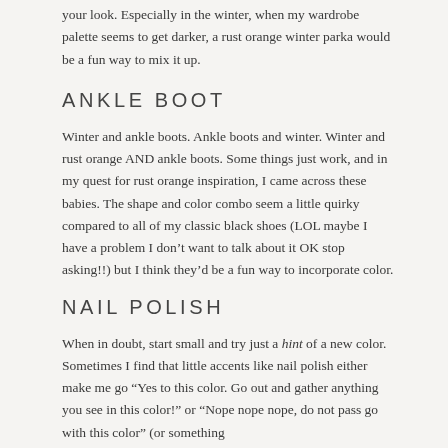your look. Especially in the winter, when my wardrobe palette seems to get darker, a rust orange winter parka would be a fun way to mix it up.
ANKLE BOOT
Winter and ankle boots. Ankle boots and winter. Winter and rust orange AND ankle boots. Some things just work, and in my quest for rust orange inspiration, I came across these babies. The shape and color combo seem a little quirky compared to all of my classic black shoes (LOL maybe I have a problem I don’t want to talk about it OK stop asking!!) but I think they’d be a fun way to incorporate color.
NAIL POLISH
When in doubt, start small and try just a hint of a new color. Sometimes I find that little accents like nail polish either make me go “Yes to this color. Go out and gather anything you see in this color!” or “Nope nope nope, do not pass go with this color” (or something